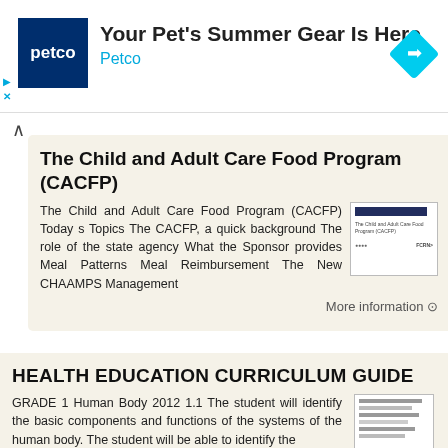[Figure (other): Petco advertisement banner with logo, text 'Your Pet's Summer Gear Is Here', 'Petco', and a cyan direction arrow icon]
The Child and Adult Care Food Program (CACFP)
The Child and Adult Care Food Program (CACFP) Today s Topics The CACFP, a quick background The role of the state agency What the Sponsor provides Meal Patterns Meal Reimbursement The New CHAAMPS Management
More information →
HEALTH EDUCATION CURRICULUM GUIDE
GRADE 1 Human Body 2012 1.1 The student will identify the basic components and functions of the systems of the human body. The student will be able to identify the